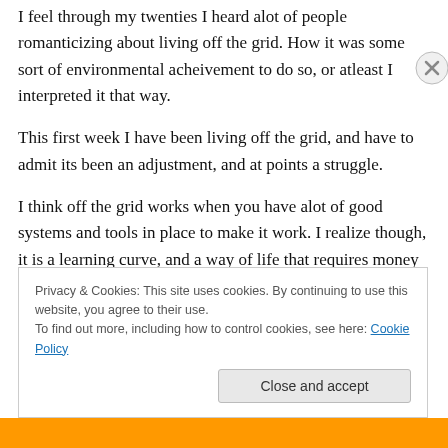I feel through my twenties I heard alot of people romanticizing about living off the grid. How it was some sort of environmental acheivement to do so, or atleast I interpreted it that way.
This first week I have been living off the grid, and have to admit its been an adjustment, and at points a struggle.
I think off the grid works when you have alot of good systems and tools in place to make it work. I realize though, it is a learning curve, and a way of life that requires money to build an infustrcture that can sustain it.
Privacy & Cookies: This site uses cookies. By continuing to use this website, you agree to their use.
To find out more, including how to control cookies, see here: Cookie Policy
Close and accept